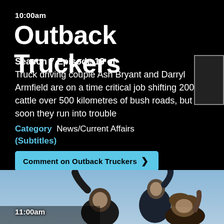10:00am
Outback Truckers
Season 7 Episode 13 of Truck driving couple Ash Bryant and Darryl Armfield are on a time critical job shifting 200 cattle over 500 kilometres of bush roads, but soon they run into trouble
Category News/Current Affairs (Subtitles)
Comment on Outback Truckers
[Figure (photo): Three men in a scene, one waving arm raised, one in foreground looking surprised with curly hair, one in center smiling, against a light blue sky background]
11:00am